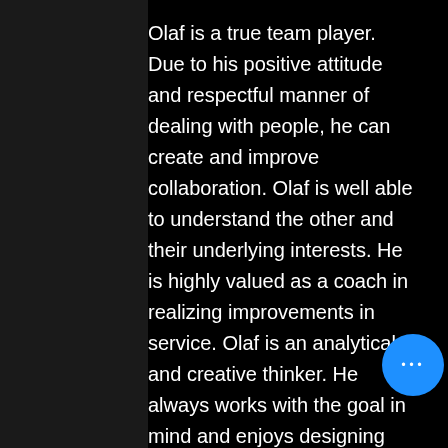Olaf is a true team player. Due to his positive attitude and respectful manner of dealing with people, he can create and improve collaboration. Olaf is well able to understand the other and their underlying interests. He is highly valued as a coach in realizing improvements in service. Olaf is an analytical and creative thinker. He always works with the goal in mind and enjoys designing creative solutions for troublesome proble ↑
Olaf has fulfilled various roles. Characteristic of the roles is to improve the performance of IT